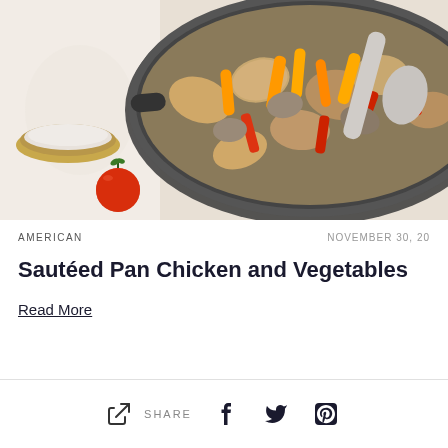[Figure (photo): Overhead shot of a skillet pan with sautéed chicken pieces and colorful vegetables including orange and red bell peppers, mushrooms, with a cherry tomato and salt bowl visible on white marble surface]
AMERICAN
NOVEMBER 30, 20
Sautéed Pan Chicken and Vegetables
Read More
SHARE